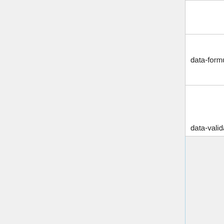|  |  | modifies the value. Default is 10. |
| data-formula | data-formula="2*x+3" | Specify an optional formula to process with the current ODB value stored in x |
| data-validate | data-validate="func" | Specify an optional validation function which gets called |